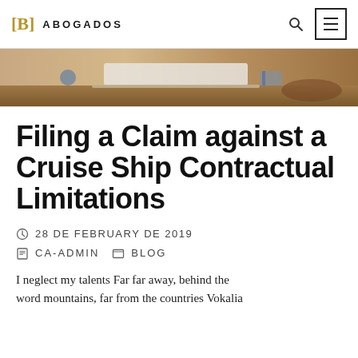[B] ABOGADOS
[Figure (photo): Partial hero image showing a desk scene with a laptop, books, and wooden surface — cropped at the top of the article page.]
Filing a Claim against a Cruise Ship Contractual Limitations
28 DE FEBRUARY DE 2019
CA-ADMIN   BLOG
I neglect my talents Far far away, behind the